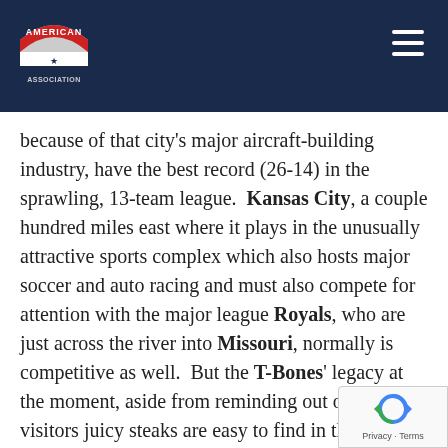American Association header with logo and navigation
because of that city's major aircraft-building industry, have the best record (26-14) in the sprawling, 13-team league. Kansas City, a couple hundred miles east where it plays in the unusually attractive sports complex which also hosts major soccer and auto racing and must also compete for attention with the major league Royals, who are just across the river into Missouri, normally is competitive as well. But the T-Bones' legacy at the moment, aside from reminding out of town visitors juicy steaks are easy to find in the area, is more for the major crowds they are attracting to Community America Ballpark (pictured